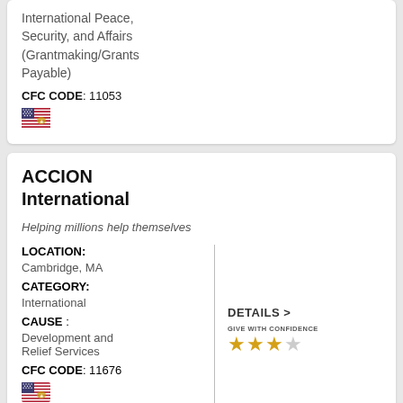International Peace, Security, and Affairs (Grantmaking/Grants Payable)
CFC CODE: 11053
ACCION International
Helping millions help themselves
LOCATION: Cambridge, MA
CATEGORY: International
CAUSE : Development and Relief Services
CFC CODE: 11676
Acres of Love